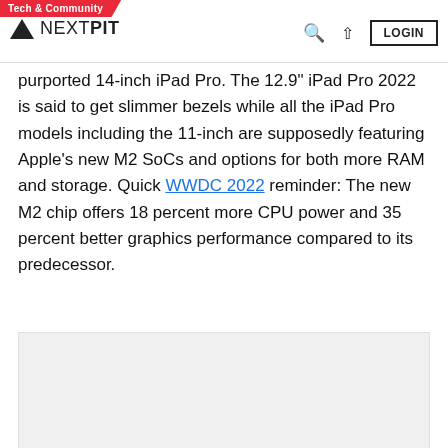Tech & Community | NEXTPIT | LOGIN
purported 14-inch iPad Pro. The 12.9" iPad Pro 2022 is said to get slimmer bezels while all the iPad Pro models including the 11-inch are supposedly featuring Apple's new M2 SoCs and options for both more RAM and storage. Quick WWDC 2022 reminder: The new M2 chip offers 18 percent more CPU power and 35 percent better graphics performance compared to its predecessor.
[Figure (other): Advertisement/banner placeholder box with close button (×)]